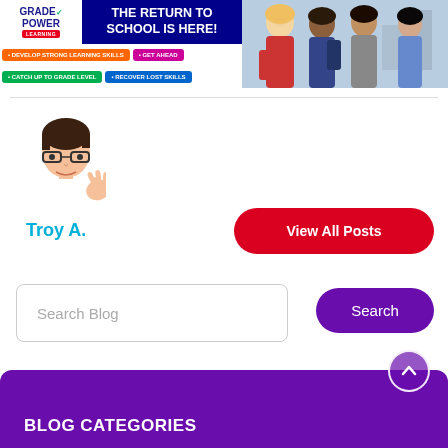[Figure (infographic): Grade Power Learning banner ad: logo on left, 'THE RETURN TO SCHOOL IS HERE!' headline in dark blue, bullet points (Develop Strong Learning Skills, Get Ahead, Catch Up To Grade Level, Recover Lost Skills), and photo of students on the right]
[Figure (illustration): Cartoon avatar of a young man with glasses, waving]
Troy A.
View All Posts
Search Blog
Search
BLOG CATEGORIES